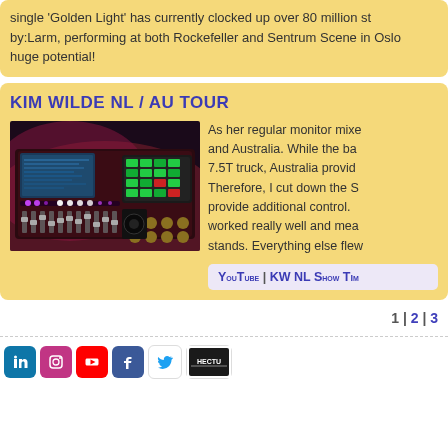single 'Golden Light' has currently clocked up over 80 million st... by:Larm, performing at both Rockefeller and Sentrum Scene in Oslo... huge potential!
KIM WILDE NL / AU TOUR
[Figure (photo): Photo of a digital mixing console/desk with illuminated faders and a tablet controller, on a dark stage setting with red and purple lighting.]
As her regular monitor mixer... and Australia. While the ba... 7.5T truck, Australia provid... Therefore, I cut down the S... provide additional control. ... worked really well and mea... stands. Everything else flew...
YouTube | KW NL Show Ti...
1 | 2 | 3
Social media icons: LinkedIn, Instagram, YouTube, Facebook, Twitter, Brand logo